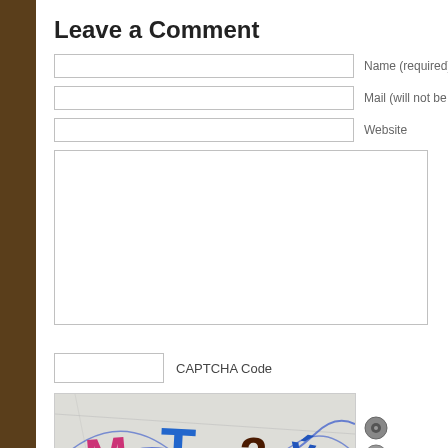Leave a Comment
Name (required)
Mail (will not be published)
Website
CAPTCHA Code
[Figure (other): CAPTCHA image showing distorted text/characters: M, T, 3, and other characters on a textured background, with two small circular icon buttons to the right]